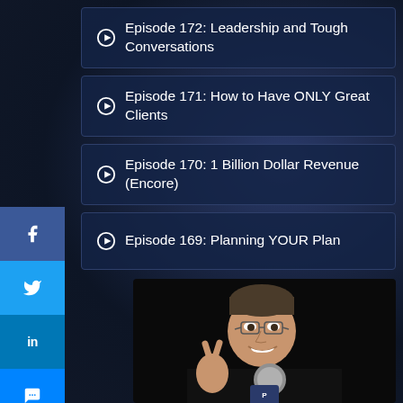▶ Episode 172: Leadership and Tough Conversations
▶ Episode 171: How to Have ONLY Great Clients
▶ Episode 170: 1 Billion Dollar Revenue (Encore)
▶ Episode 169: Planning YOUR Plan
[Figure (photo): Man in black t-shirt smiling and making a peace sign gesture, with a microphone in front of him, podcast host photo]